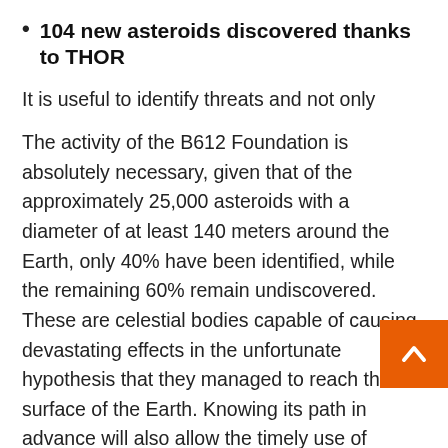104 new asteroids discovered thanks to THOR
It is useful to identify threats and not only
The activity of the B612 Foundation is absolutely necessary, given that of the approximately 25,000 asteroids with a diameter of at least 140 meters around the Earth, only 40% have been identified, while the remaining 60% remain undiscovered. These are celestial bodies capable of causing devastating effects in the unfortunate hypothesis that they managed to reach the surface of the Earth. Knowing its path in advance will also allow the timely use of deflection systems such as Those studied as part of NASA's DART mission.
THOR could also make use of the latest instruments to observe the celestial vault, such as the Vera C. Rubin